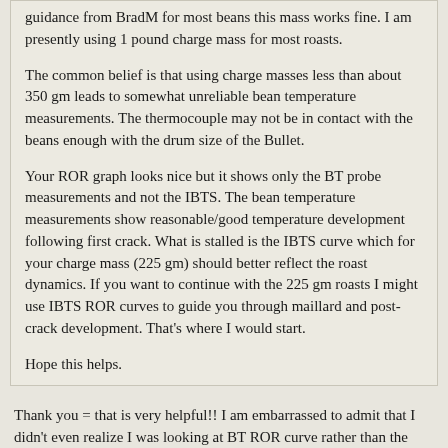guidance from BradM for most beans this mass works fine. I am presently using 1 pound charge mass for most roasts.
The common belief is that using charge masses less than about 350 gm leads to somewhat unreliable bean temperature measurements. The thermocouple may not be in contact with the beans enough with the drum size of the Bullet.
Your ROR graph looks nice but it shows only the BT probe measurements and not the IBTS. The bean temperature measurements show reasonable/good temperature development following first crack. What is stalled is the IBTS curve which for your charge mass (225 gm) should better reflect the roast dynamics. If you want to continue with the 225 gm roasts I might use IBTS ROR curves to guide you through maillard and post-crack development. That's where I would start.
Hope this helps.
Thank you = that is very helpful!! I am embarrassed to admit that I didn't even realize I was looking at BT ROR curve rather than the ITBS ROR. I turned on the ITBS ROR, and the curves are below. A lot noisier, but clearly shows the ITBS ROR is bottoming out. Interesting that the BT and ITBS ROR more closely track each other on the second roast of the day (the Sidama Bombe).